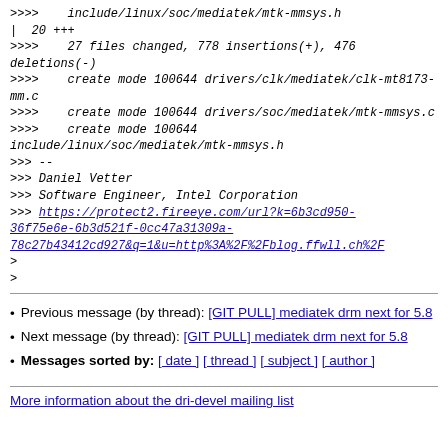>>>>    include/linux/soc/mediatek/mtk-mmsys.h
|  20 +++
>>>>    27 files changed, 778 insertions(+), 476 deletions(-)
>>>>    create mode 100644 drivers/clk/mediatek/clk-mt8173-mm.c
>>>>    create mode 100644 drivers/soc/mediatek/mtk-mmsys.c
>>>>    create mode 100644 include/linux/soc/mediatek/mtk-mmsys.h
>>> --
>>> Daniel Vetter
>>> Software Engineer, Intel Corporation
>>> https://protect2.fireeye.com/url?k=6b3cd950-36f75e6e-6b3d521f-0cc47a31309a-78c27b43412cd927&q=1&u=http%3A%2F%2Fblog.ffwll.ch%2F
>
>
Previous message (by thread): [GIT PULL] mediatek drm next for 5.8
Next message (by thread): [GIT PULL] mediatek drm next for 5.8
Messages sorted by: [ date ] [ thread ] [ subject ] [ author ]
More information about the dri-devel mailing list